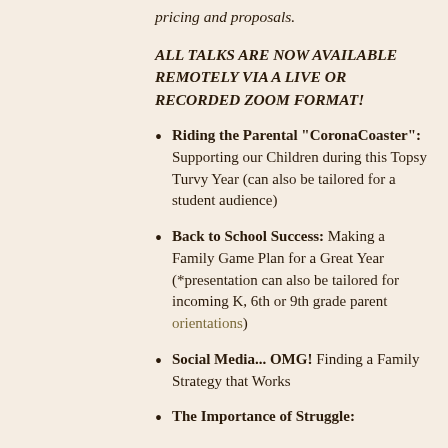pricing and proposals.
ALL TALKS ARE NOW AVAILABLE REMOTELY VIA A LIVE OR RECORDED ZOOM FORMAT!
Riding the Parental "CoronaCoaster": Supporting our Children during this Topsy Turvy Year (can also be tailored for a student audience)
Back to School Success: Making a Family Game Plan for a Great Year (*presentation can also be tailored for incoming K, 6th or 9th grade parent orientations)
Social Media... OMG! Finding a Family Strategy that Works
The Importance of Struggle: